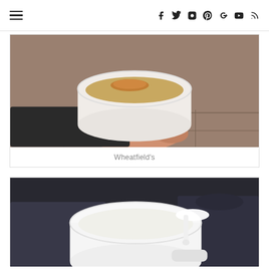Navigation and social icons header
[Figure (photo): A hand holding a white plastic cup/bowl of creamy soup with a small piece of bread or crouton on top, viewed from above outdoors.]
Wheatfield's
[Figure (photo): Two hands holding a white plastic cup of creamy white soup with a white plastic spoon attached, viewed from above outdoors.]